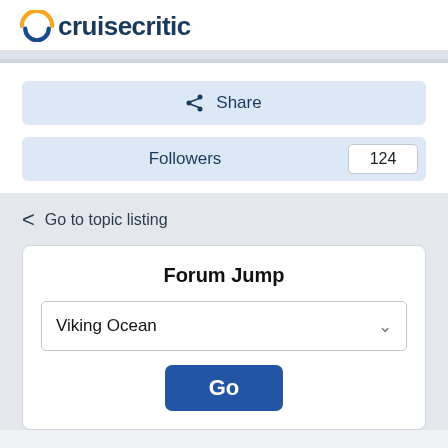[Figure (logo): Cruise Critic logo with orange/blue circular icon and text 'cruisecritic']
Share
Followers 124
Go to topic listing
Forum Jump
Viking Ocean
Go